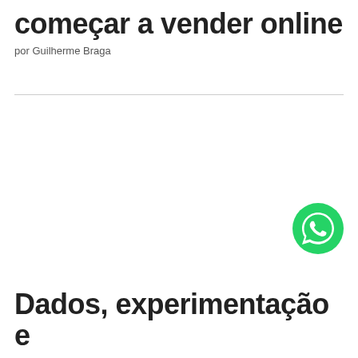começar a vender online
por Guilherme Braga
[Figure (logo): WhatsApp green circular icon with white phone/chat bubble symbol]
Dados, experimentação e